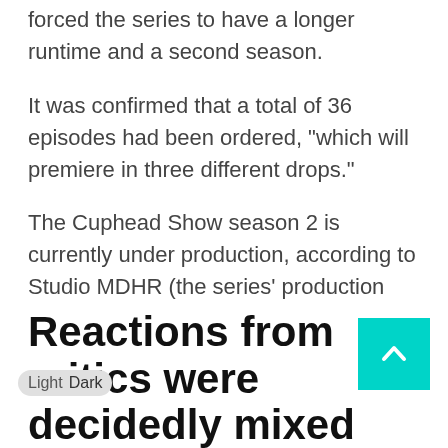forced the series to have a longer runtime and a second season.
It was confirmed that a total of 36 episodes had been ordered, "which will premiere in three different drops."
The Cuphead Show season 2 is currently under production, according to Studio MDHR (the series' production company). In addition, the studio's Twitter page published a new GIF revealing that season 2 will premiere on Netflix in Summer 2022.
Reactions from critics were decidedly mixed